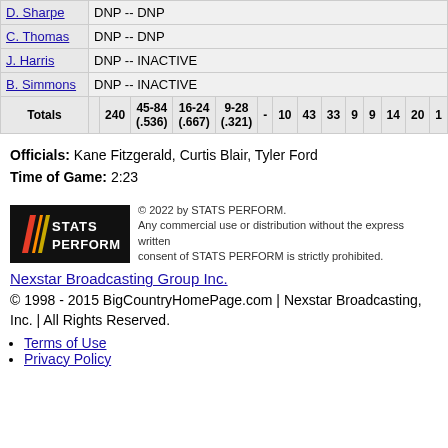| D. Sharpe | DNP -- DNP |
| C. Thomas | DNP -- DNP |
| J. Harris | DNP -- INACTIVE |
| B. Simmons | DNP -- INACTIVE |
| Totals |  | 240 | 45-84 (.536) | 16-24 (.667) | 9-28 (.321) | - | 10 | 43 | 33 | 9 | 9 | 14 | 20 | 1 |
Officials: Kane Fitzgerald, Curtis Blair, Tyler Ford
Time of Game: 2:23
[Figure (logo): STATS PERFORM logo — black background with colored slash marks and white text]
© 2022 by STATS PERFORM. Any commercial use or distribution without the express written consent of STATS PERFORM is strictly prohibited.
Nexstar Broadcasting Group Inc.
© 1998 - 2015 BigCountryHomePage.com | Nexstar Broadcasting, Inc. | All Rights Reserved.
Terms of Use
Privacy Policy